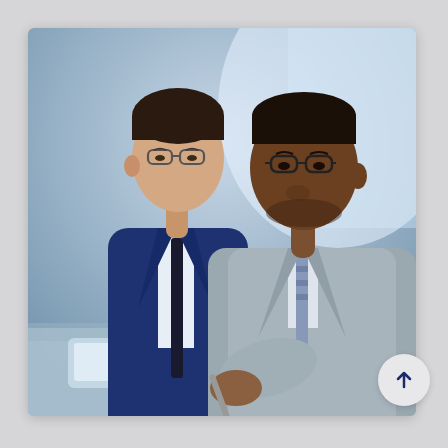[Figure (photo): Two businessmen in suits looking down at a tablet device. The man on the left wears a navy blue suit with a dark tie and glasses. The man on the right, in the foreground, wears a light gray suit with a striped tie and glasses, and is holding a pen pointing at the tablet screen.]